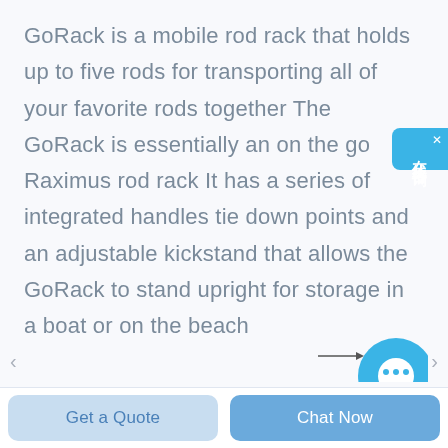GoRack is a mobile rod rack that holds up to five rods for transporting all of your favorite rods together The GoRack is essentially an on the go Raximus rod rack It has a series of integrated handles tie down points and an adjustable kickstand that allows the GoRack to stand upright for storage in a boat or on the beach
[Figure (other): Blue online chat widget button with Chinese characters 在线咨询 (online consultation) and a close X button, positioned at the right edge of the screen]
[Figure (other): Partial blue chat bubble circle icon at the bottom right, with a horizontal line-arrow pointing to it]
Get a Quote
Chat Now